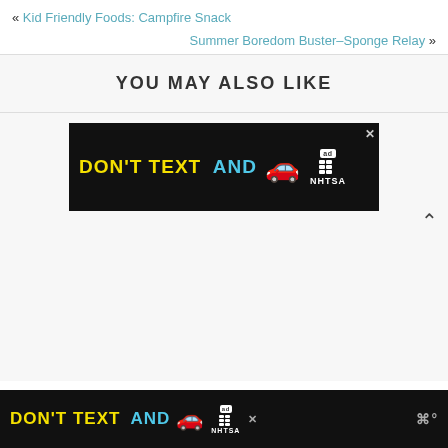« Kid Friendly Foods: Campfire Snack
Summer Boredom Buster–Sponge Relay »
YOU MAY ALSO LIKE
[Figure (screenshot): Advertisement banner: black background with 'DON'T TEXT AND' in yellow/cyan bold text, a red car emoji, and NHTSA ad logo with close button]
[Figure (screenshot): Bottom advertisement bar: black background with 'DON'T TEXT AND' in yellow/cyan bold text, a red car emoji, NHTSA logo, close button, and weather icon]